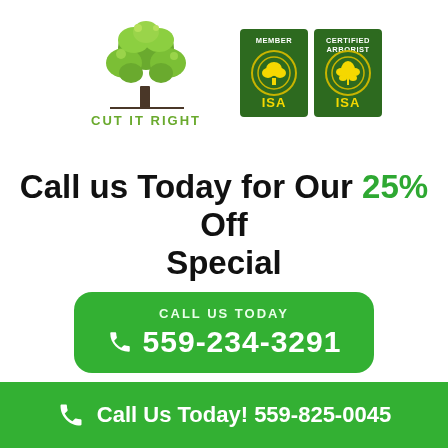[Figure (logo): Cut It Right tree service logo with green tree illustration and text CUT IT RIGHT, alongside two ISA badges: MEMBER ISA and CERTIFIED ARBORIST ISA]
Call us Today for Our 25% Off Special
[Figure (infographic): Green rounded rectangle button with CALL US TODAY label and phone number 559-234-3291 with phone icon]
Call Us Today! 559-825-0045